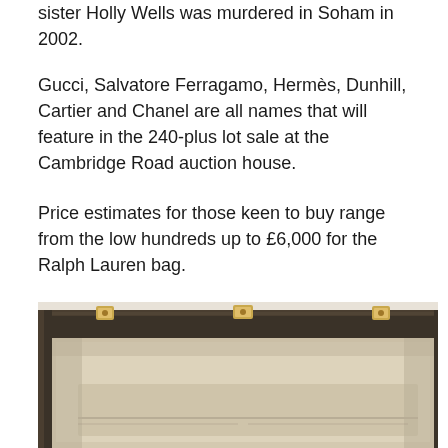sister Holly Wells was murdered in Soham in 2002.
Gucci, Salvatore Ferragamo, Hermès, Dunhill, Cartier and Chanel are all names that will feature in the 240-plus lot sale at the Cambridge Road auction house.
Price estimates for those keen to buy range from the low hundreds up to £6,000 for the Ralph Lauren bag.
[Figure (photo): Close-up photo of an open vintage handbag or case, showing the metal frame clasp at the top and a beige/cream interior lining, viewed from above at an angle. The frame has a dark patinated metal with gold-toned hardware.]